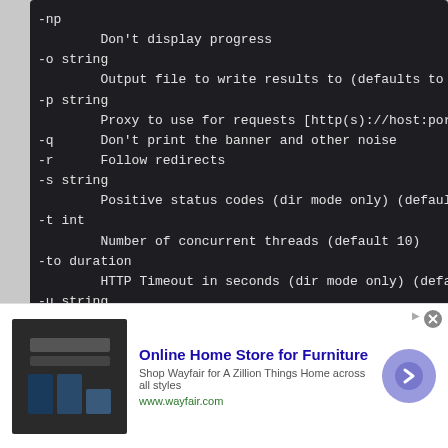[Figure (screenshot): Terminal/command-line screenshot showing command-line flags: -np (Don't display progress), -o string (Output file to write results to), -p string (Proxy to use for requests [http(s)://host:port]), -q (Don't print the banner and other noise), -r (Follow redirects), -s string (Positive status codes dir mode only default), -t int (Number of concurrent threads default 10), -to duration (HTTP Timeout in seconds dir mode only defaul), -u string (The target URL or Domain), -v (Verbose output errors), -w string (Path to the wordlist), -x string (File extension(s) to search for dir mode only)]
[Figure (infographic): Advertisement banner: Online Home Store for Furniture - Wayfair ad with image of furniture/appliances, blue title text, description text, www.wayfair.com URL, and a purple circular arrow button.]